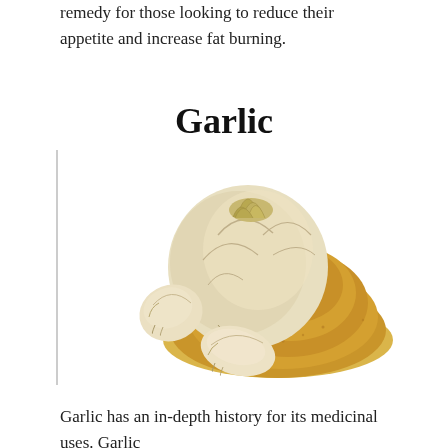remedy for those looking to reduce their appetite and increase fat burning.
Garlic
[Figure (photo): A whole garlic bulb with two individual cloves and a pile of garlic powder on a white background.]
Garlic has an in-depth history for its medicinal uses. Garlic